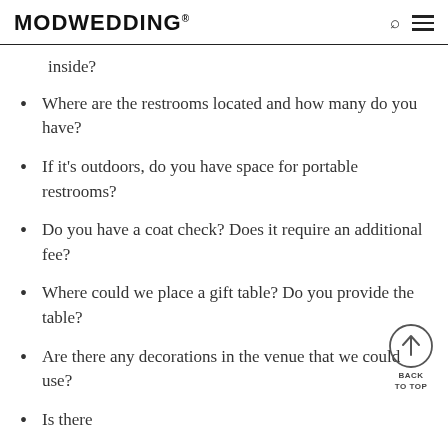MODWEDDING®
inside?
Where are the restrooms located and how many do you have?
If it's outdoors, do you have space for portable restrooms?
Do you have a coat check? Does it require an additional fee?
Where could we place a gift table? Do you provide the table?
Are there any decorations in the venue that we could use?
Is there…